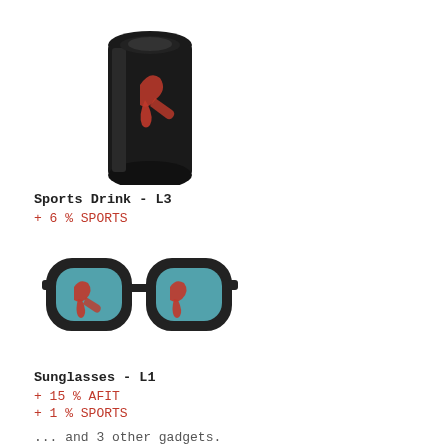[Figure (illustration): Sports drink can with red logo on black background]
Sports Drink - L3
+ 6 % SPORTS
[Figure (illustration): Sunglasses with blue tinted lenses and red logo]
Sunglasses - L1
+ 15 % AFIT
+ 1 % SPORTS
[Figure (illustration): Sunglasses with blue tinted lenses and red logo]
Sunglasses - L2
+ 15 % AFIT
+ 1.5 % SPORTS
... and 3 other gadgets.